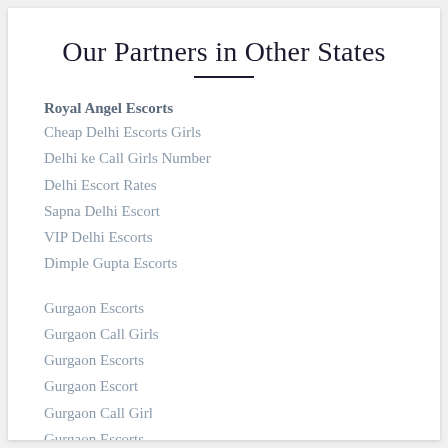Our Partners in Other States
Royal Angel Escorts
Cheap Delhi Escorts Girls
Delhi ke Call Girls Number
Delhi Escort Rates
Sapna Delhi Escort
VIP Delhi Escorts
Dimple Gupta Escorts
Gurgaon Escorts
Gurgaon Call Girls
Gurgaon Escorts
Gurgaon Escort
Gurgaon Call Girl
Gurgaon Escorts